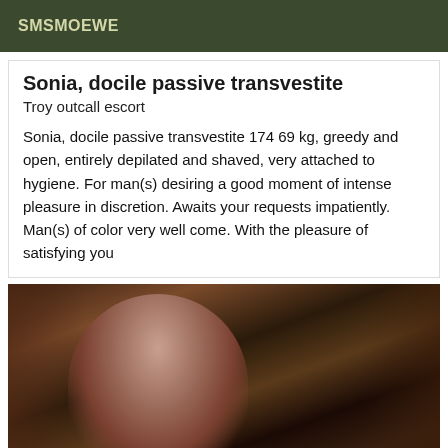SMSMOEWE
Sonia, docile passive transvestite
Troy outcall escort
Sonia, docile passive transvestite 174 69 kg, greedy and open, entirely depilated and shaved, very attached to hygiene. For man(s) desiring a good moment of intense pleasure in discretion. Awaits your requests impatiently. Man(s) of color very well come. With the pleasure of satisfying you
[Figure (photo): Photo of a woman in black lingerie posing indoors against a dark wooden background with floral wallpaper visible]